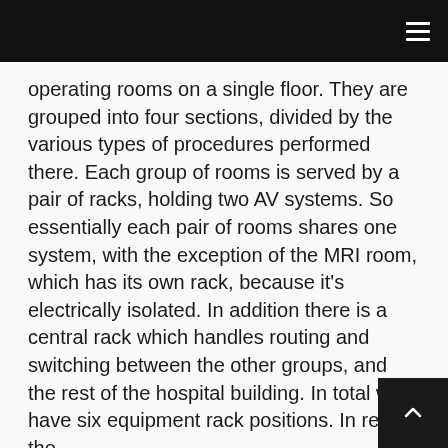≡
operating rooms on a single floor. They are grouped into four sections, divided by the various types of procedures performed there. Each group of rooms is served by a pair of racks, holding two AV systems. So essentially each pair of rooms shares one system, with the exception of the MRI room, which has its own rack, because it’s electrically isolated. In addition there is a central rack which handles routing and switching between the other groups, and the rest of the hospital building. In total we have six equipment rack positions. In reality the